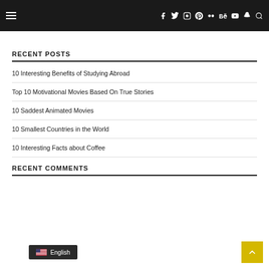Navigation bar with hamburger menu and social icons
RECENT POSTS
10 Interesting Benefits of Studying Abroad
Top 10 Motivational Movies Based On True Stories
10 Saddest Animated Movies
10 Smallest Countries in the World
10 Interesting Facts about Coffee
RECENT COMMENTS